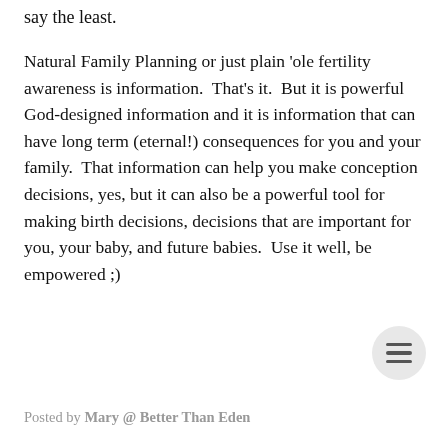say the least.
Natural Family Planning or just plain 'ole fertility awareness is information.  That's it.  But it is powerful God-designed information and it is information that can have long term (eternal!) consequences for you and your family.  That information can help you make conception decisions, yes, but it can also be a powerful tool for making birth decisions, decisions that are important for you, your baby, and future babies.  Use it well, be empowered ;)
Posted by Mary @ Better Than Eden